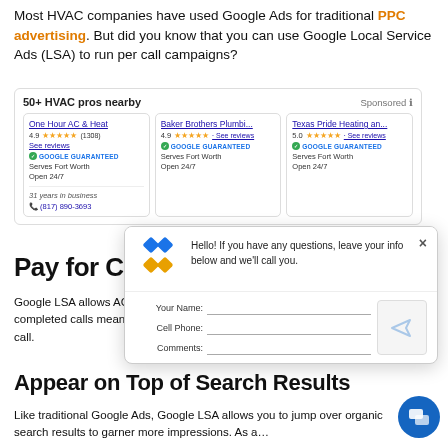Most HVAC companies have used Google Ads for traditional PPC advertising. But did you know that you can use Google Local Service Ads (LSA) to run per call campaigns?
[Figure (screenshot): Google Local Service Ads screenshot showing HVAC providers: One Hour AC & Heat (4.9 stars, 1308 reviews, Google Guaranteed, Serves Fort Worth, Open 24/7, 31 years in business), Baker Brothers Plumbing (4.9 stars, Google Guaranteed, Serves Fort Worth, Open 24/7), Texas Pride Heating and... (5.0 stars, Google Guaranteed, Serves Fort Worth, Open 24/7). Header says 50+ HVAC pros nearby with Sponsored label.]
Pay for Co…
Google LSA allows AC contractors to pay only for completed calls meaning mis… cases, Google LS… call.
[Figure (screenshot): Chat popup widget with diamond logo, message 'Hello! If you have any questions, leave your info below and we\'ll call you.' Form fields: Your Name, Cell Phone, Comments. Send button with arrow icon. Close (x) button.]
Appear on Top of Search Results
Like traditional Google Ads, Google LSA allows you to jump over organic search results to garner more impressions. As a…